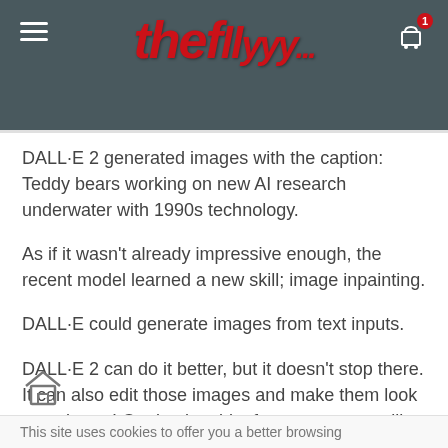[Figure (screenshot): Website header bar with hamburger menu on left, stylized red cursive logo in center, shopping cart icon with badge showing '1' on right, over a dark photo background]
DALL·E 2 generated images with the caption: Teddy bears working on new AI research underwater with 1990s technology.
As if it wasn't already impressive enough, the recent model learned a new skill; image inpainting.
DALL·E could generate images from text inputs.
DALL·E 2 can do it better, but it doesn't stop there. It can also edit those images and make them look even better! Or simply add a feature you want like some flamingos in the background.
This site uses cookies to offer you a better browsing